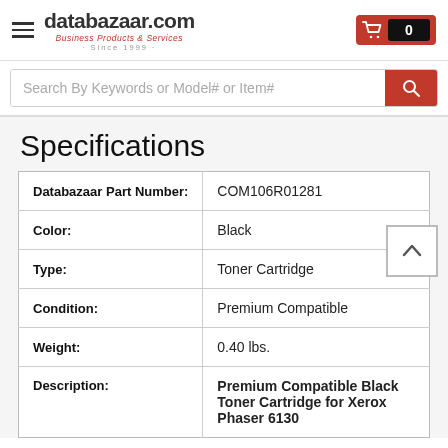databazaar.com — Business Products & Services · Since 1999
Search By Keywords or Model# or Item#
Specifications
| Field | Value |
| --- | --- |
| Databazaar Part Number: | COM106R01281 |
| Color: | Black |
| Type: | Toner Cartridge |
| Condition: | Premium Compatible |
| Weight: | 0.40 lbs. |
| Description: | Premium Compatible Black Toner Cartridge for Xerox Phaser 6130 |